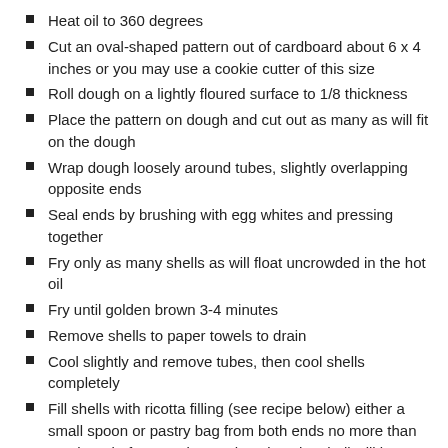Heat oil to 360 degrees
Cut an oval-shaped pattern out of cardboard about 6 x 4 inches or you may use a cookie cutter of this size
Roll dough on a lightly floured surface to 1/8 thickness
Place the pattern on dough and cut out as many as will fit on the dough
Wrap dough loosely around tubes, slightly overlapping opposite ends
Seal ends by brushing with egg whites and pressing together
Fry only as many shells as will float uncrowded in the hot oil
Fry until golden brown 3-4 minutes
Remove shells to paper towels to drain
Cool slightly and remove tubes, then cool shells completely
Fill shells with ricotta filling (see recipe below) either a small spoon or pastry bag from both ends no more than one hour before serving.  Otherwise, the shell will become soggy
Sprinkle the ends with nuts and powdered sugar.